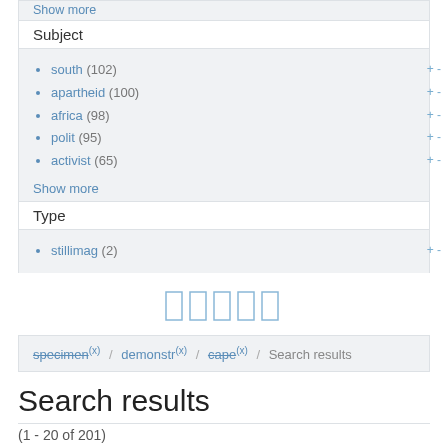Show more
Subject
south (102)
apartheid (100)
africa (98)
polit (95)
activist (65)
Show more
Type
stillimag (2)
[Figure (other): Pagination controls showing 5 page number buttons outlined in light blue]
specimen (x) / demonstr (x) / cape (x) / Search results
Search results
(1 - 20 of 201)